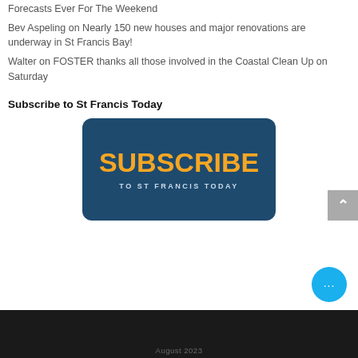Forecasts Ever For The Weekend
Bev Aspeling on Nearly 150 new houses and major renovations are underway in St Francis Bay!
Walter on FOSTER thanks all those involved in the Coastal Clean Up on Saturday
Subscribe to St Francis Today
[Figure (illustration): Dark teal rounded rectangle banner with orange bold text 'SUBSCRIBE' and white small-caps text 'TO ST FRANCIS TODAY']
August 2023